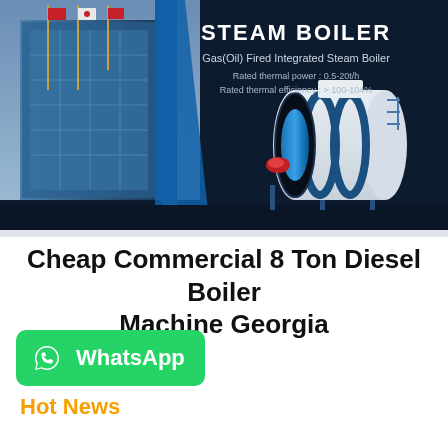[Figure (photo): Dark navy banner showing industrial steam boilers (Gas/Oil Fired Integrated Steam Boiler) on the right and a modern industrial building with flags on the left. Three white horizontal cylindrical steam boilers with blue burners are displayed. Text overlay includes STEAM BOILER title with rated thermal power 0.5-20t/h and rated thermal efficiency >100-104%.]
Cheap Commercial 8 Ton Diesel Boiler Machine Georgia
[Figure (logo): WhatsApp green button with phone icon and WhatsApp text in white]
Hot News